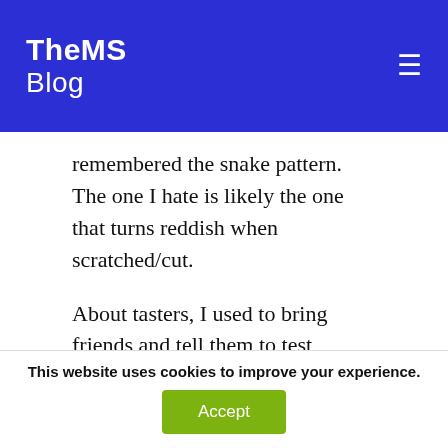TheMS Blog
remembered the snake pattern. The one I hate is likely the one that turns reddish when scratched/cut.
About tasters, I used to bring friends and tell them to test russulae. Last time a friend asked if a huge russula he found was good so I told him to try to taste it. He didn't want to check the others he found later. Actually, this always happen with all my friends that come with me:
This website uses cookies to improve your experience.